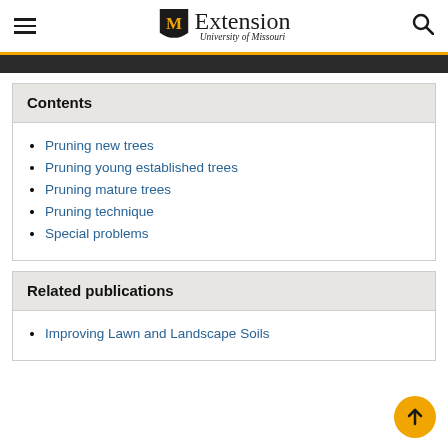Extension University of Missouri
Contents
Pruning new trees
Pruning young established trees
Pruning mature trees
Pruning technique
Special problems
Related publications
Improving Lawn and Landscape Soils